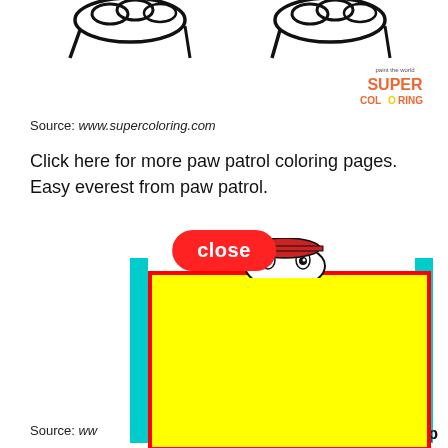[Figure (illustration): Partial view of cartoon character hands/fists at top of page (coloring page style, black outline on white)]
[Figure (logo): Super Coloring logo - colorful text reading SUPER COLORING with tagline 'paint the world']
Source: www.supercoloring.com
Click here for more paw patrol coloring pages. Easy everest from paw patrol.
[Figure (illustration): Close button (red rounded rectangle with white bold text 'close') overlaid on a cartoon dog character peeking over a yellow advertisement box. Cyan vertical bars on left and right. Yellow rectangle with red border (advertisement overlay).]
Source: ww
Top